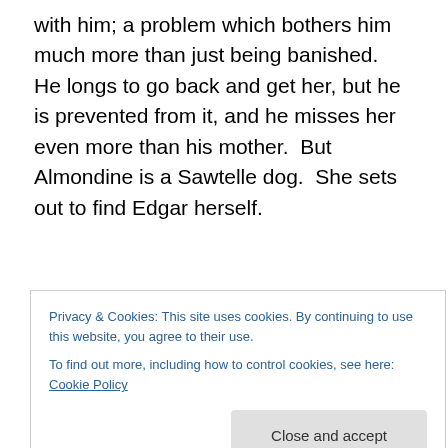with him; a problem which bothers him much more than just being banished. He longs to go back and get her, but he is prevented from it, and he misses her even more than his mother. But Almondine is a Sawtelle dog. She sets out to find Edgar herself.
[Figure (other): WooCommerce advertisement banner with purple background, teal arrow, and orange accent shape, text reads 'How to start selling']
After I'd finished the book and was reading reviews and commentaries online about it, I realized just how closely
Privacy & Cookies: This site uses cookies. By continuing to use this website, you agree to their use.
To find out more, including how to control cookies, see here: Cookie Policy
Close and accept